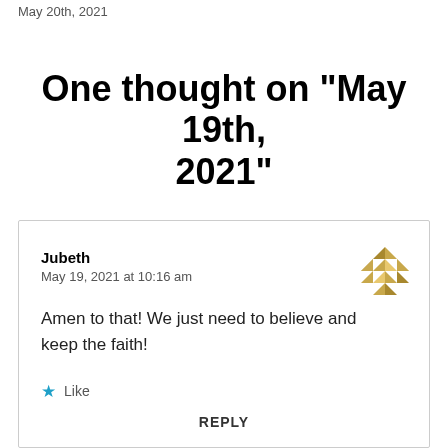May 20th, 2021
One thought on "May 19th, 2021"
Jubeth
May 19, 2021 at 10:16 am

Amen to that! We just need to believe and keep the faith!

★ Like

REPLY